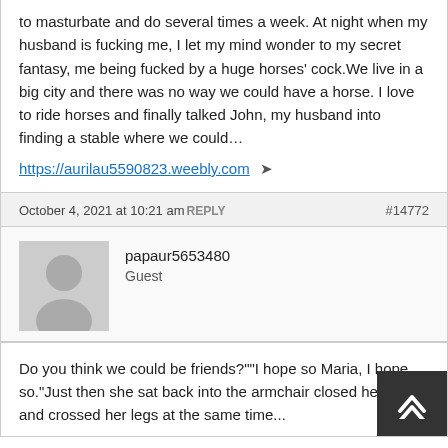to masturbate and do several times a week. At night when my husband is fucking me, I let my mind wonder to my secret fantasy, me being fucked by a huge horses' cock.We live in a big city and there was no way we could have a horse. I love to ride horses and finally talked John, my husband into finding a stable where we could…
https://aurilau5590823.weebly.com ↪
October 4, 2021 at 10:21 am REPLY  #14772
papaur5653480
Guest
Do you think we could be friends?""I hope so Maria, I hope so."Just then she sat back into the armchair closed her eyes and crossed her legs at the same time...